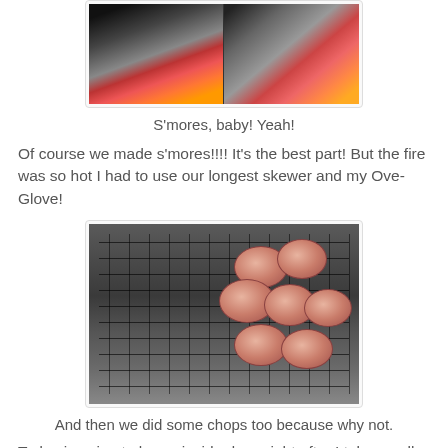[Figure (photo): Campfire with s'mores making, two side-by-side fire photos showing flames and hot coals]
S'mores, baby! Yeah!
Of course we made s'mores!!!! It's the best part! But the fire was so hot I had to use our longest skewer and my Ove-Glove!
[Figure (photo): Pork chops on a grill grate over campfire coals]
And then we did some chops too because why not.
Today is going to be an inside day - right after I take up all the buckets. Early yesterday the sap was pouring off the